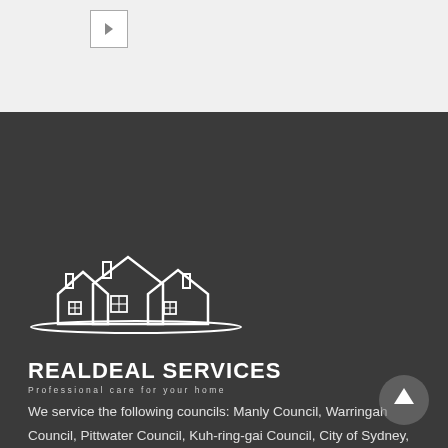[Figure (logo): Real Deal Services logo: white outline illustration of three houses with chimneys and windows, company name REALDEAL SERVICES in bold white text, tagline 'Professional care for your home' in spaced grey text below]
We service the following councils: Manly Council, Warringah Council, Pittwater Council, Kuh-ring-gai Council, City of Sydney, City of Randwick, Waverley Council, City of Botany Bay, Municipality of Woolahra, Marrickville Council, Municipality of Ashfield, City of Canada Bay and the Municipality of Leichhardt.